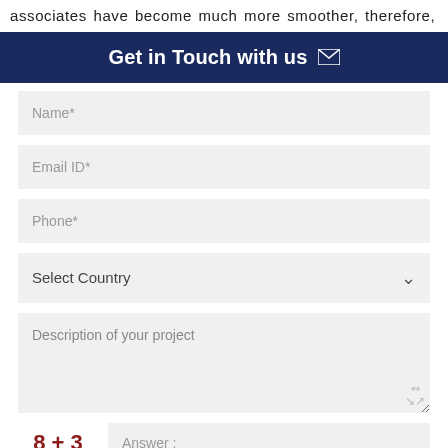associates have become much more smoother, therefore,
Get in Touch with us ✉
[Figure (other): Web contact form with fields: Name*, Email ID*, Phone*, Select Country dropdown, Description of your project textarea, CAPTCHA (8 + 3 = Answer), and SUBMIT button]